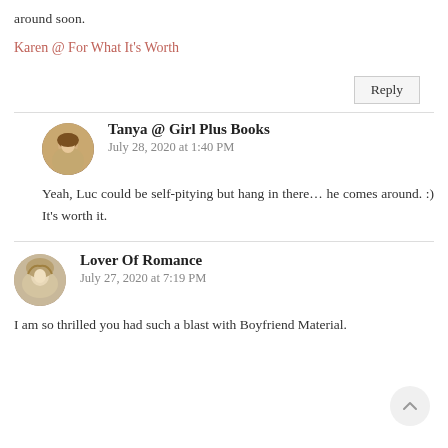around soon.
Karen @ For What It's Worth
Reply
Tanya @ Girl Plus Books
July 28, 2020 at 1:40 PM
Yeah, Luc could be self-pitying but hang in there… he comes around. :) It's worth it.
Lover Of Romance
July 27, 2020 at 7:19 PM
I am so thrilled you had such a blast with Boyfriend Material.